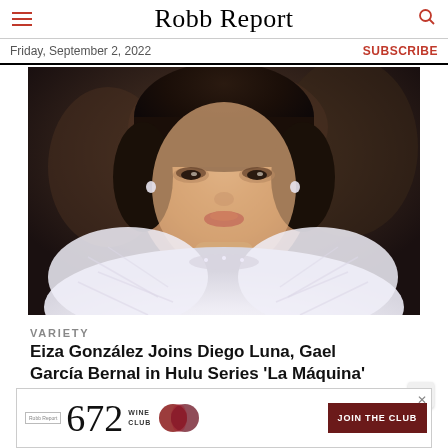Robb Report
Friday, September 2, 2022
SUBSCRIBE
[Figure (photo): Close-up portrait of Eiza González wearing a white feathery outfit, photographed at what appears to be a formal event. She has dark hair pulled back, wearing diamond earrings, with a blurred crowd in the background.]
VARIETY
Eiza González Joins Diego Luna, Gael García Bernal in Hulu Series 'La Máquina'
[Figure (other): Advertisement banner for Robb Report 672 Wine Club with JOIN THE CLUB button]